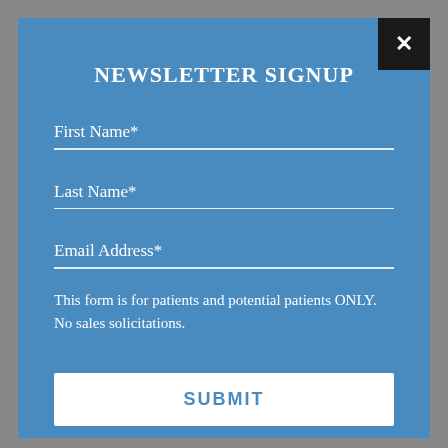NEWSLETTER SIGNUP
First Name*
Last Name*
Email Address*
This form is for patients and potential patients ONLY.
No sales solicitations.
SUBMIT